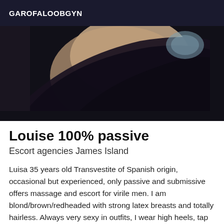GAROFALOOBGYN
[Figure (photo): Close-up photo showing a person's hip/thigh area wearing dark black clothing against a dark background]
Louise 100% passive
Escort agencies James Island
Luisa 35 years old Transvestite of Spanish origin, occasional but experienced, only passive and submissive offers massage and escort for virile men. I am blond/brown/redheaded with strong latex breasts and totally hairless. Always very sexy in outfits, I wear high heels, tap dance, ankle chain with my delicious varnished feet. Available on weekdays from 12:00 am to